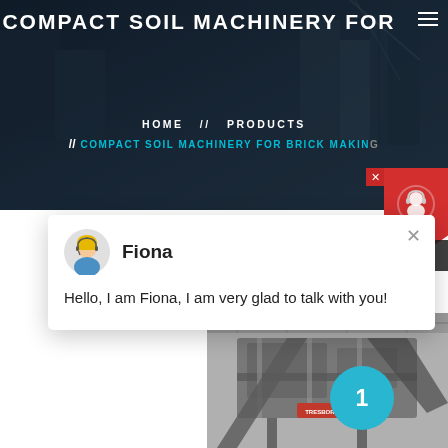[Figure (screenshot): Website screenshot of Compact Soil Machinery for Brick Making product page with construction building background in dark blue/grey tones]
COMPACT SOIL MACHINERY FOR
HOME // PRODUCTS // COMPACT SOIL MACHINERY FOR BRICK MAKING
[Figure (screenshot): Chat popup with avatar of Fiona (female support agent with blonde hair and headset) and message: Hello, I am Fiona, I am very glad to talk with you!]
Fiona
Hello, I am Fiona, I am very glad to talk with you!
[Figure (photo): Industrial compact soil machinery / crushing equipment in a factory setting with steel framework and industrial components]